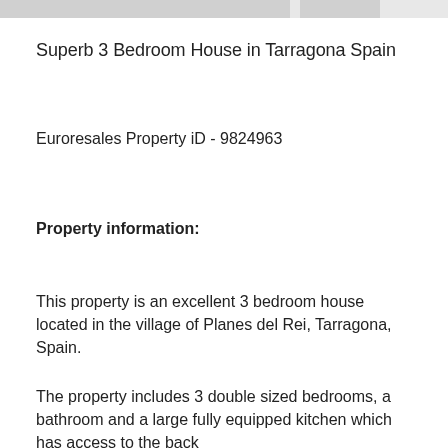Superb 3 Bedroom House in Tarragona Spain
Euroresales Property iD - 9824963
Property information:
This property is an excellent 3 bedroom house located in the village of Planes del Rei, Tarragona, Spain.
The property includes 3 double sized bedrooms, a bathroom and a large fully equipped kitchen which has access to the back